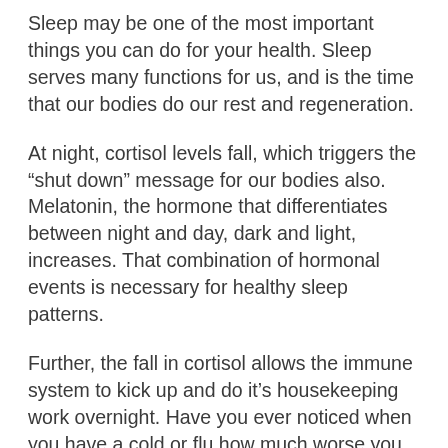Sleep may be one of the most important things you can do for your health. Sleep serves many functions for us, and is the time that our bodies do our rest and regeneration.
At night, cortisol levels fall, which triggers the “shut down” message for our bodies also. Melatonin, the hormone that differentiates between night and day, dark and light, increases. That combination of hormonal events is necessary for healthy sleep patterns.
Further, the fall in cortisol allows the immune system to kick up and do it’s housekeeping work overnight. Have you ever noticed when you have a cold or flu how much worse you feel at night? That is because the immune system is more active